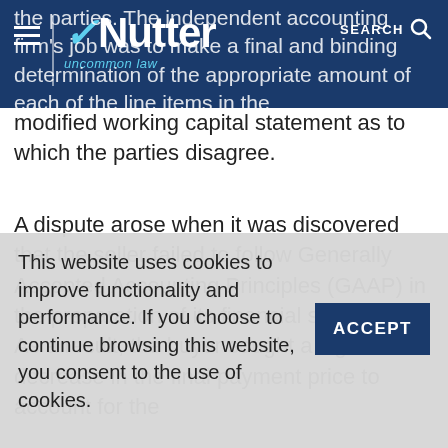Nutter — uncommon law | SEARCH
the parties. The independent accounting firm's job was to make a final and binding determination of the appropriate amount of each of the line items in the modified working capital statement as to which the parties disagree.
A dispute arose when it was discovered that the seller failed to follow Generally Accepted Accounting Principles (GAAP) in the preparation of its financial statements. As a result, the buyer sought a significant decrease in the final payment price to account for the
...s maintained the ...er sought reversal of the ...ould be ...amount of ...le, Texas ...however, the seller argued that the deposit should w...
This website uses cookies to improve functionality and performance. If you choose to continue browsing this website, you consent to the use of cookies.